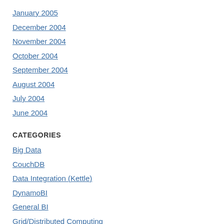January 2005
December 2004
November 2004
October 2004
September 2004
August 2004
July 2004
June 2004
CATEGORIES
Big Data
CouchDB
Data Integration (Kettle)
DynamoBI
General BI
Grid/Distributed Computing
How To